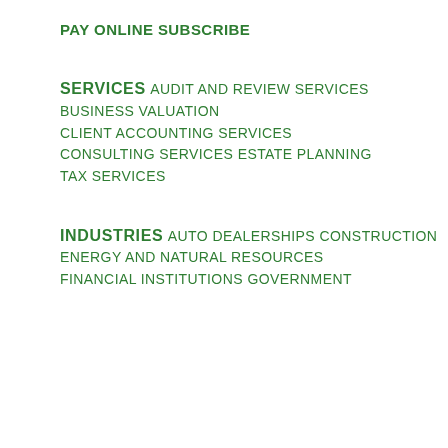PAY ONLINE
SUBSCRIBE
SERVICES
AUDIT AND REVIEW SERVICES
BUSINESS VALUATION
CLIENT ACCOUNTING SERVICES
CONSULTING SERVICES
ESTATE PLANNING
TAX SERVICES
INDUSTRIES
AUTO DEALERSHIPS
CONSTRUCTION
ENERGY AND NATURAL RESOURCES
FINANCIAL INSTITUTIONS
GOVERNMENT